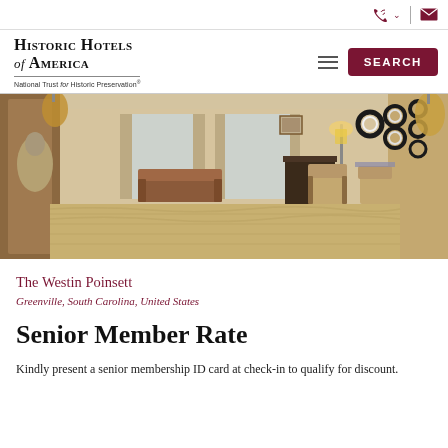Historic Hotels of America — National Trust for Historic Preservation
[Figure (photo): Interior lobby/lounge area of The Westin Poinsett hotel, showing elegant furnishings with a patterned carpet, decorative wall art with circular motifs, warm lighting with pendant lamps, chairs, and a sofa in a spacious room with large windows.]
The Westin Poinsett
Greenville, South Carolina, United States
Senior Member Rate
Kindly present a senior membership ID card at check-in to qualify for discount.